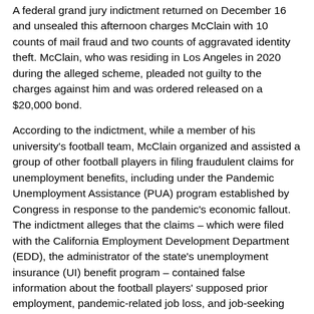A federal grand jury indictment returned on December 16 and unsealed this afternoon charges McClain with 10 counts of mail fraud and two counts of aggravated identity theft. McClain, who was residing in Los Angeles in 2020 during the alleged scheme, pleaded not guilty to the charges against him and was ordered released on a $20,000 bond.
According to the indictment, while a member of his university's football team, McClain organized and assisted a group of other football players in filing fraudulent claims for unemployment benefits, including under the Pandemic Unemployment Assistance (PUA) program established by Congress in response to the pandemic's economic fallout. The indictment alleges that the claims – which were filed with the California Employment Development Department (EDD), the administrator of the state's unemployment insurance (UI) benefit program – contained false information about the football players' supposed prior employment, pandemic-related job loss, and job-seeking efforts in California.
The indictment alleges that the false statements in the UI applications led EDD to authorize Bank of America to mail debit cards to the football players. Those debit cards were loaded with at least hundreds of dollars, and sometimes thousands of dollars, in unemployment benefits, which the recipients used to make cash withdrawals at ATMs and to fund personal